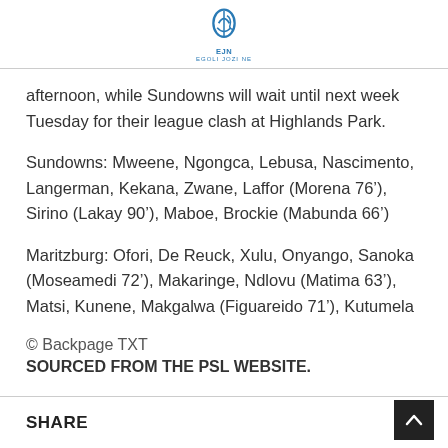EJN EGOLI JOZI NE
afternoon, while Sundowns will wait until next week Tuesday for their league clash at Highlands Park.
Sundowns: Mweene, Ngongca, Lebusa, Nascimento, Langerman, Kekana, Zwane, Laffor (Morena 76’), Sirino (Lakay 90’), Maboe, Brockie (Mabunda 66’)
Maritzburg: Ofori, De Reuck, Xulu, Onyango, Sanoka (Moseamedi 72’), Makaringe, Ndlovu (Matima 63’), Matsi, Kunene, Makgalwa (Figuareido 71’), Kutumela
© Backpage TXT
SOURCED FROM THE PSL WEBSITE.
SHARE